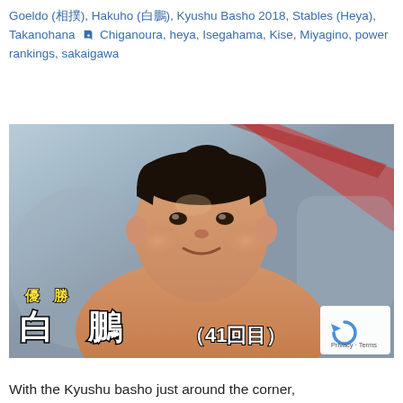Goeldo (相撲), Hakuho (白鵬), Kyushu Basho 2018, Stables (Heya), Takanohana 🔖 Chiganoura, heya, Isegahama, Kise, Miyagino, power rankings, sakaigawa
[Figure (photo): Photo of sumo wrestler Hakuho (白鵬) smiling, with on-screen Japanese text overlay reading 優勝 白鵬（41回目）indicating his 41st tournament championship victory at Kyushu Basho 2018.]
With the Kyushu basho just around the corner,